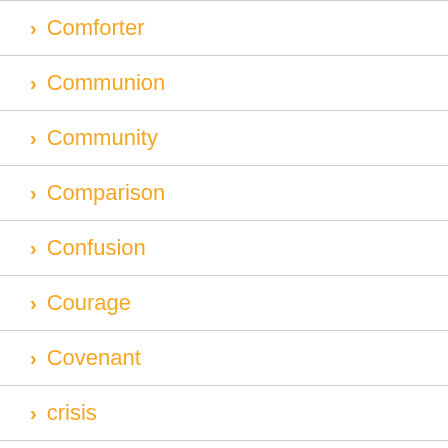Comforter
Communion
Community
Comparison
Confusion
Courage
Covenant
crisis
Crucifixion